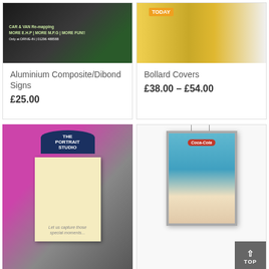[Figure (photo): Aluminium composite dibond sign on a post outdoors — dark background with green and white text advertising CAR & VAN Re-mapping]
Aluminium Composite/Dibond Signs
£25.00
[Figure (photo): Yellow bollard cover with TODAY branding]
Bollard Covers
£38.00 – £54.00
[Figure (photo): A-frame pavement sign outside Portrait Studio shop displaying baby photography advertisement with text 'Let us capture those special moments...']
[Figure (photo): Hanging lightbox display frame with Coca-Cola vintage advertisement poster, suspended by cables]